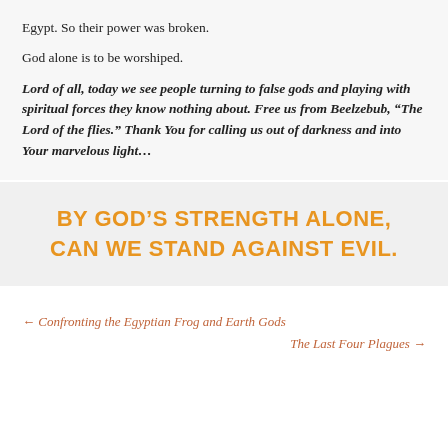Egypt. So their power was broken.
God alone is to be worshiped.
Lord of all, today we see people turning to false gods and playing with spiritual forces they know nothing about. Free us from Beelzebub, “The Lord of the flies.” Thank You for calling us out of darkness and into Your marvelous light…
BY GOD’S STRENGTH ALONE, CAN WE STAND AGAINST EVIL.
← Confronting the Egyptian Frog and Earth Gods
The Last Four Plagues →